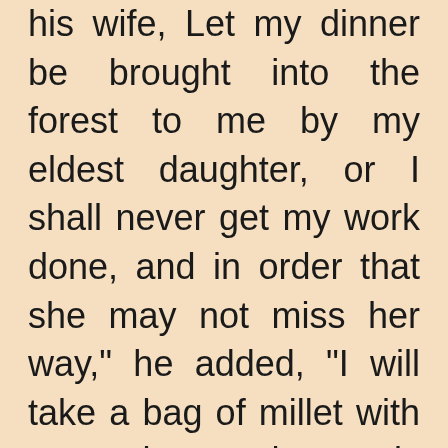his wife, Let my dinner be brought into the forest to me by my eldest daughter, or I shall never get my work done, and in order that she may not miss her way," he added, "I will take a bag of millet with me and strew the seeds on the path."
When, therefore, the sun was just above the center of the forest, the girl set out on her way with a bowl of soup, but the field-